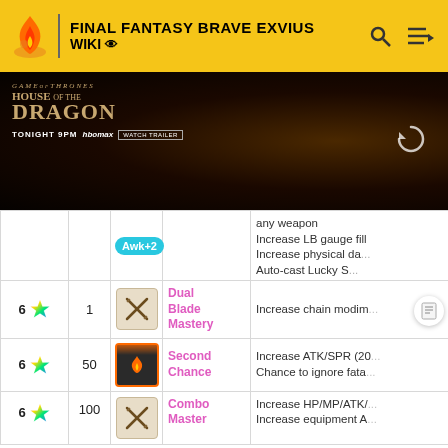FINAL FANTASY BRAVE EXVIUS WIKI
[Figure (screenshot): Advertisement banner for House of the Dragon on HBO Max, Tonight 9PM, with Watch Trailer button, dark atmospheric background]
| Stars | Lvl | Icon | Name | Effect |
| --- | --- | --- | --- | --- |
|  |  | Awk+2 |  | any weapon
Increase LB gauge fill
Increase physical da...
Auto-cast Lucky S... |
| 6★ | 1 | [swords icon] | Dual Blade Mastery | Increase chain modim... |
| 6★ | 50 | [fire icon] | Second Chance | Increase ATK/SPR (20...
Chance to ignore fata... |
| 6★ | 100 | [swords icon] | Combo Master | Increase HP/MP/ATK/...
Increase equipment A... |